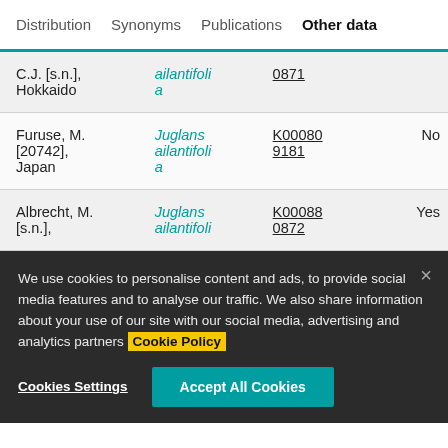Distribution  Synonyms  Publications  Other data
| Collector | Species | ID | Type |
| --- | --- | --- | --- |
| C.J. [s.n.], Hokkaido | ailantifolia | 0871 |  |
| Furuse, M. [20742], Japan | Juglans ailantifolia | K000809181 | No |
| Albrecht, M. [s.n.], | Juglans ailantifolia | K000880872 | Yes |
We use cookies to personalise content and ads, to provide social media features and to analyse our traffic. We also share information about your use of our site with our social media, advertising and analytics partners Cookie Policy
Cookies Settings  Accept All Cookies